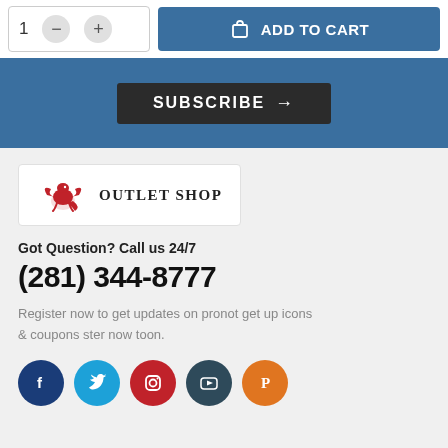[Figure (screenshot): Quantity selector with minus and plus buttons, and an Add to Cart button]
[Figure (screenshot): Subscribe button on blue background]
[Figure (logo): Dragon logo with text OUTLET SHOP]
Got Question? Call us 24/7
(281) 344-8777
Register now to get updates on pronot get up icons & coupons ster now toon.
[Figure (infographic): Social media icons: Facebook, Twitter, Instagram, YouTube, Pinterest]